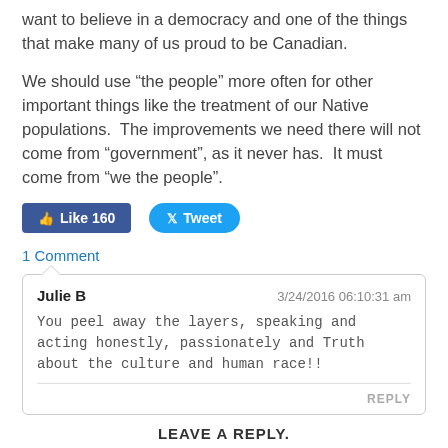want to believe in a democracy and one of the things that make many of us proud to be Canadian.
We should use “the people” more often for other important things like the treatment of our Native populations.  The improvements we need there will not come from “government”, as it never has.  It must come from “we the people”.
[Figure (other): Social media buttons: Facebook Like (160) and Tweet]
1 Comment
Julie B | 3/24/2016 06:10:31 am
You peel away the layers, speaking and acting honestly, passionately and Truth about the culture and human race!!
LEAVE A REPLY.
Name (required)